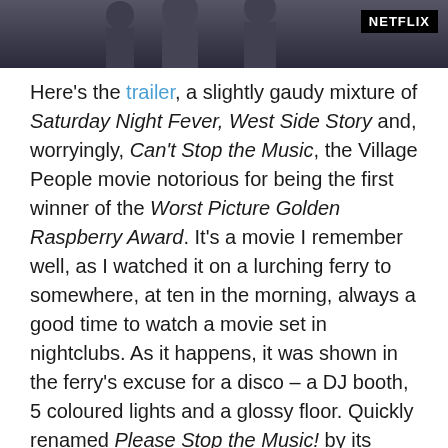[Figure (photo): A dark scene with silhouetted figures, Netflix logo watermark in the top-right corner]
Here's the trailer, a slightly gaudy mixture of Saturday Night Fever, West Side Story and, worryingly, Can't Stop the Music, the Village People movie notorious for being the first winner of the Worst Picture Golden Raspberry Award. It's a movie I remember well, as I watched it on a lurching ferry to somewhere, at ten in the morning, always a good time to watch a movie set in nightclubs. As it happens, it was shown in the ferry's excuse for a disco – a DJ booth, 5 coloured lights and a glossy floor. Quickly renamed Please Stop the Music! by its audience of fifteen, I absolutely loved it, mostly for the hilariously camp script; as the barely-formed group are about to hit the stage for their debut appearance, one of the characters (it may have been the Cop, or the Construction Worker, I can't be sure)